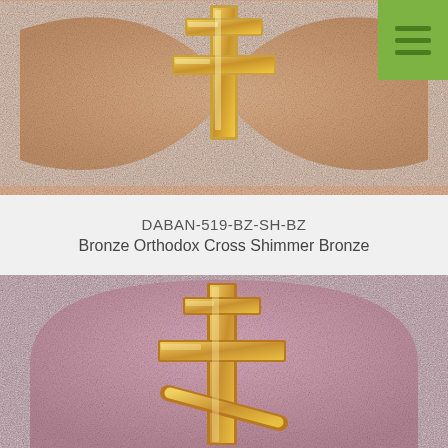[Figure (photo): Bronze-colored memorial plaque with a bow-tie or butterfly shape featuring a raised Orthodox cross emblem in polished gold/bronze on a textured shimmer bronze surface. A green hamburger menu button is visible in the top-right corner.]
DABAN-519-BZ-SH-BZ
Bronze Orthodox Cross Shimmer Bronze
[Figure (photo): Pink/mauve-colored memorial plaque with an arched tombstone shape featuring a raised Orthodox (three-bar) cross emblem in polished gold on a textured shimmer surface.]